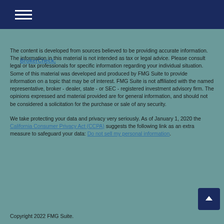BrokerCheck.
The content is developed from sources believed to be providing accurate information. The information in this material is not intended as tax or legal advice. Please consult legal or tax professionals for specific information regarding your individual situation. Some of this material was developed and produced by FMG Suite to provide information on a topic that may be of interest. FMG Suite is not affiliated with the named representative, broker - dealer, state - or SEC - registered investment advisory firm. The opinions expressed and material provided are for general information, and should not be considered a solicitation for the purchase or sale of any security.
We take protecting your data and privacy very seriously. As of January 1, 2020 the California Consumer Privacy Act (CCPA) suggests the following link as an extra measure to safeguard your data: Do not sell my personal information.
Copyright 2022 FMG Suite.